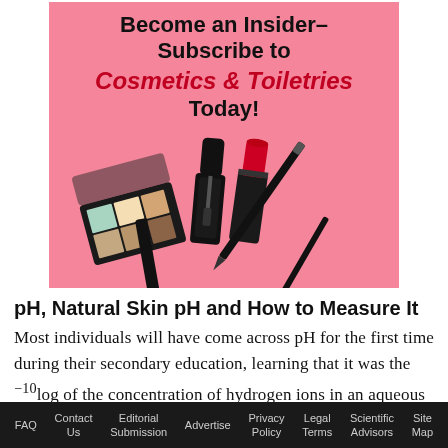[Figure (illustration): Advertisement banner for Cosmetics & Toiletries magazine subscription. Pink background with cosmetics (nail polish, lipstick, eyeshadow palette, mascara wand, eyeliner pencil). Text reads: Become an Insider– Subscribe to Cosmetics & Toiletries Today!]
pH, Natural Skin pH and How to Measure It
Most individuals will have come across pH for the first time during their secondary education, learning that it was the -10log of the concentration of hydrogen ions in an aqueous solution. Water was
FAQ  Contact Us  Editorial Submission  Advertise  Privacy Policy  Legal Terms  Scientific Advisors  Site Map